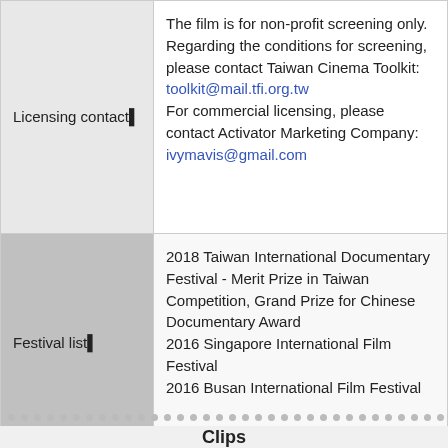|  |  |
| --- | --- |
| Licensing contact▌ | The film is for non-profit screening only.
Regarding the conditions for screening, please contact Taiwan Cinema Toolkit:
toolkit@mail.tfi.org.tw
For commercial licensing, please contact Activator Marketing Company: ivymavis@gmail.com |
| Festival list▌ | 2018 Taiwan International Documentary Festival - Merit Prize in Taiwan Competition, Grand Prize for Chinese Documentary Award
2016 Singapore International Film Festival
2016 Busan International Film Festival |
Clips